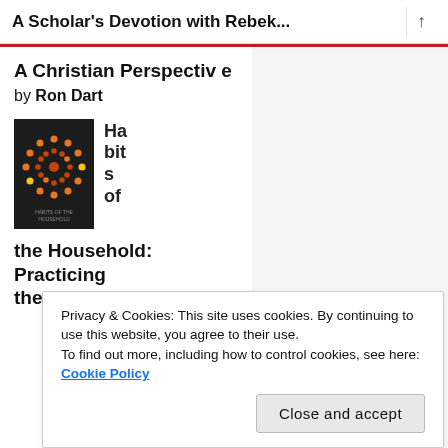A Scholar's Devotion with Rebek...
A Christian Perspective
by Ron Dart
[Figure (illustration): Book cover for 'Habits of the Household: Practicing the Story' showing a dark background with a circular orange/yellow dotted pattern]
Habits of the Household: Practicing the Story
Privacy & Cookies: This site uses cookies. By continuing to use this website, you agree to their use.
To find out more, including how to control cookies, see here:
Cookie Policy
Close and accept